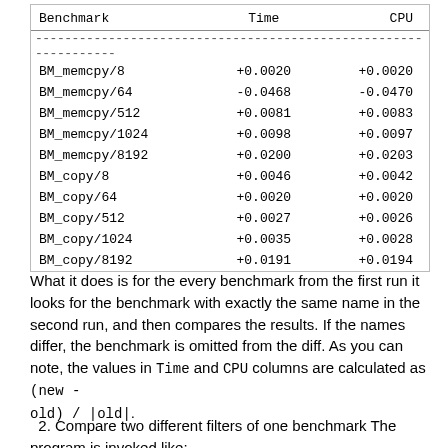| Benchmark | Time | CPU |
| --- | --- | --- |
| BM_memcpy/8 | +0.0020 | +0.0020 |
| BM_memcpy/64 | -0.0468 | -0.0470 |
| BM_memcpy/512 | +0.0081 | +0.0083 |
| BM_memcpy/1024 | +0.0098 | +0.0097 |
| BM_memcpy/8192 | +0.0200 | +0.0203 |
| BM_copy/8 | +0.0046 | +0.0042 |
| BM_copy/64 | +0.0020 | +0.0020 |
| BM_copy/512 | +0.0027 | +0.0026 |
| BM_copy/1024 | +0.0035 | +0.0028 |
| BM_copy/8192 | +0.0191 | +0.0194 |
What it does is for the every benchmark from the first run it looks for the benchmark with exactly the same name in the second run, and then compares the results. If the names differ, the benchmark is omitted from the diff. As you can note, the values in Time and CPU columns are calculated as (new - old) / |old|.
2. Compare two different filters of one benchmark The program is invoked like: